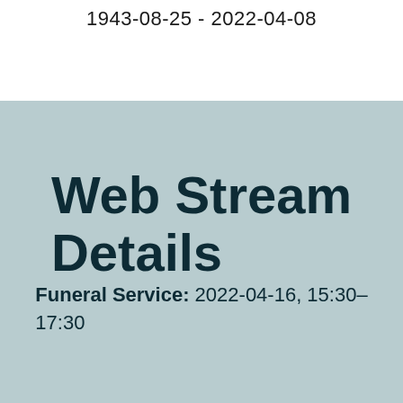1943-08-25 - 2022-04-08
Web Stream Details
Funeral Service: 2022-04-16, 15:30–17:30